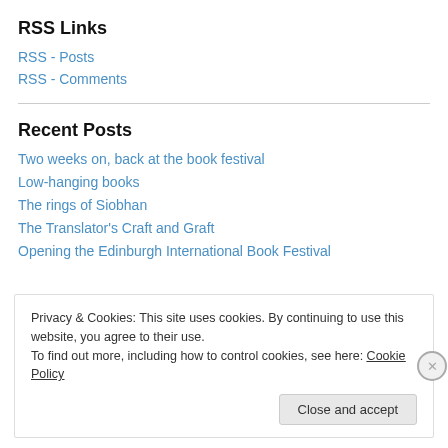RSS Links
RSS - Posts
RSS - Comments
Recent Posts
Two weeks on, back at the book festival
Low-hanging books
The rings of Siobhan
The Translator's Craft and Graft
Opening the Edinburgh International Book Festival
Privacy & Cookies: This site uses cookies. By continuing to use this website, you agree to their use.
To find out more, including how to control cookies, see here: Cookie Policy
Close and accept